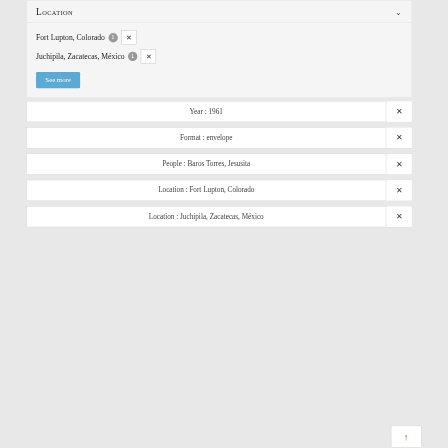Location
Fort Lupton, Colorado 1 ✕
Juchipila, Zacatecas, México 1 ✕
See more
Year : 1961
Format : envelope
People : Baros Torres, Jesusita
Location : Fort Lupton, Colorado
Location : Juchipila, Zacatecas, México